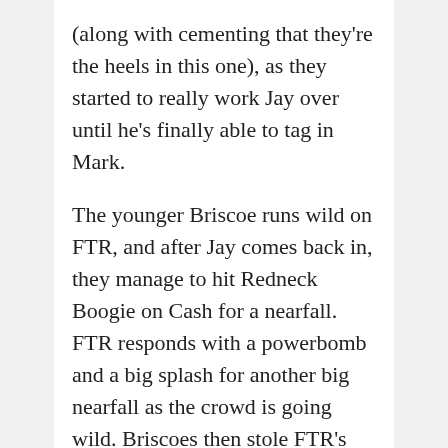(along with cementing that they're the heels in this one), as they started to really work Jay over until he's finally able to tag in Mark.

The younger Briscoe runs wild on FTR, and after Jay comes back in, they manage to hit Redneck Boogie on Cash for a nearfall. FTR responds with a powerbomb and a big splash for another big nearfall as the crowd is going wild. Briscoes then stole FTR's finisher for another insane near finish. This match is absolutely bonkers. Another wild sequence ends with Jay suplexing Dax to the floor!! Is there